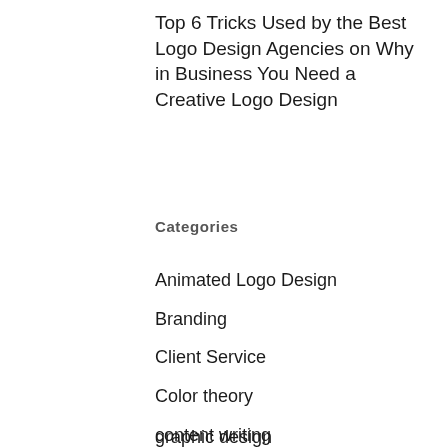Top 6 Tricks Used by the Best Logo Design Agencies on Why in Business You Need a Creative Logo Design
Categories
Animated Logo Design
Branding
Client Service
Color theory
content writing
customer acquisition
Featured
graphic design